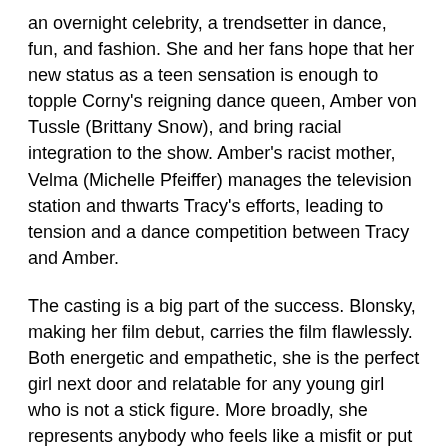an overnight celebrity, a trendsetter in dance, fun, and fashion. She and her fans hope that her new status as a teen sensation is enough to topple Corny's reigning dance queen, Amber von Tussle (Brittany Snow), and bring racial integration to the show. Amber's racist mother, Velma (Michelle Pfeiffer) manages the television station and thwarts Tracy's efforts, leading to tension and a dance competition between Tracy and Amber.
The casting is a big part of the success. Blonsky, making her film debut, carries the film flawlessly. Both energetic and empathetic, she is the perfect girl next door and relatable for any young girl who is not a stick figure. More broadly, she represents anybody who feels like a misfit or put upon for not being classified as perfect. Her joy and sincerity as she sings and dances to "Good Morning, Baltimore" and "I Can Hear the Bells" is infectious and makes her a perfect protagonist.
The supporting cast is delightful and laden with A-list